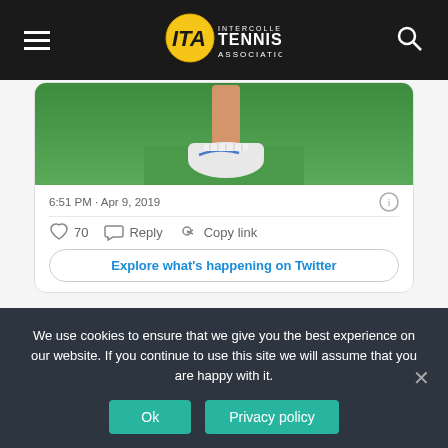ITA Intercollegiate Tennis Association
[Figure (screenshot): Partial tweet card showing a tennis player's shoe on a green court surface, with timestamp 6:51 PM · Apr 9, 2019, 70 likes, Reply, Copy link actions, and Explore what's happening on Twitter button]
Related: Oracle/ITA Division I Men's Team Rankings — April
We use cookies to ensure that we give you the best experience on our website. If you continue to use this site we will assume that you are happy with it.
Ok
Privacy policy